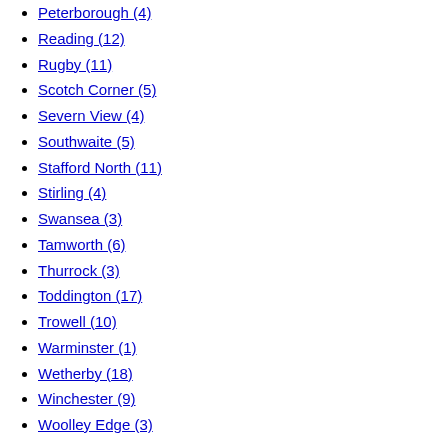Peterborough (4)
Reading (12)
Rugby (11)
Scotch Corner (5)
Severn View (4)
Southwaite (5)
Stafford North (11)
Stirling (4)
Swansea (3)
Tamworth (6)
Thurrock (3)
Toddington (17)
Trowell (10)
Warminster (1)
Wetherby (18)
Winchester (9)
Woolley Edge (3)
Full or Part time
Full Time (99)
Full Time/ Part Time (132)
Part Time (45)
More Filters